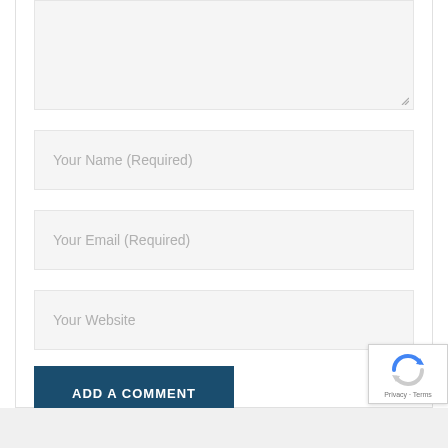[Figure (screenshot): Textarea input box (large, light gray background) with a resize handle at bottom right corner]
Your Name (Required)
Your Email (Required)
Your Website
ADD A COMMENT
[Figure (logo): Google reCAPTCHA badge with spinning arrows logo, Privacy and Terms text]